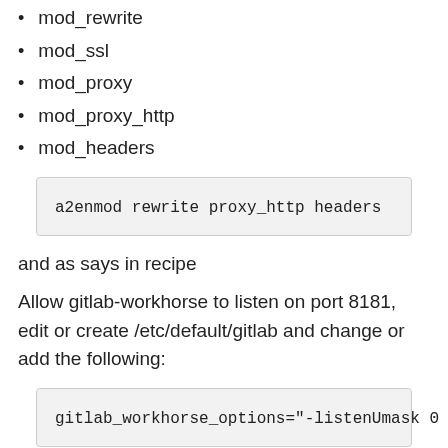mod_rewrite
mod_ssl
mod_proxy
mod_proxy_http
mod_headers
a2enmod rewrite proxy_http headers
and as says in recipe
Allow gitlab-workhorse to listen on port 8181, edit or create /etc/default/gitlab and change or add the following:
gitlab_workhorse_options="-listenUmask 0 -l
Troubleshooting common issues